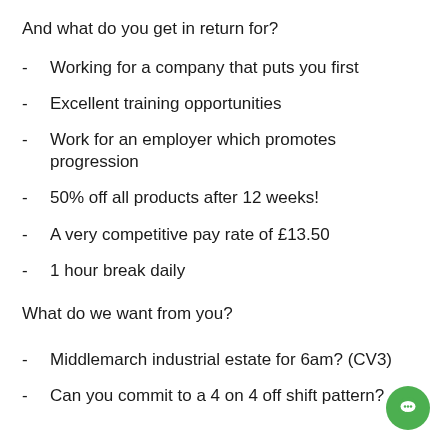And what do you get in return for?
Working for a company that puts you first
Excellent training opportunities
Work for an employer which promotes progression
50% off all products after 12 weeks!
A very competitive pay rate of £13.50
1 hour break daily
What do we want from you?
Middlemarch industrial estate for 6am? (CV3)
Can you commit to a 4 on 4 off shift pattern?